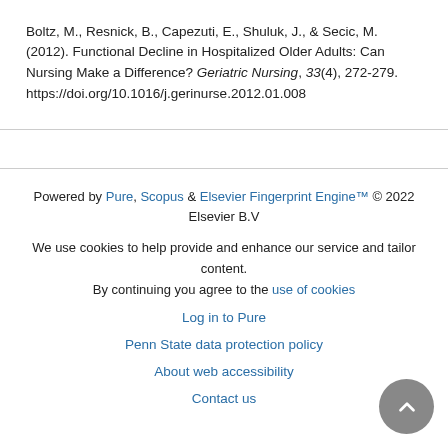Boltz, M., Resnick, B., Capezuti, E., Shuluk, J., & Secic, M. (2012). Functional Decline in Hospitalized Older Adults: Can Nursing Make a Difference? Geriatric Nursing, 33(4), 272-279. https://doi.org/10.1016/j.gerinurse.2012.01.008
Powered by Pure, Scopus & Elsevier Fingerprint Engine™ © 2022 Elsevier B.V
We use cookies to help provide and enhance our service and tailor content. By continuing you agree to the use of cookies
Log in to Pure
Penn State data protection policy
About web accessibility
Contact us